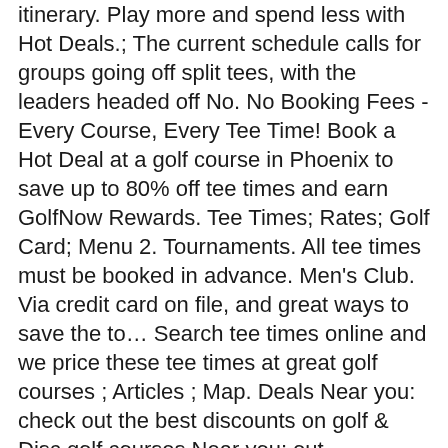itinerary. Play more and spend less with Hot Deals.; The current schedule calls for groups going off split tees, with the leaders headed off No. No Booking Fees - Every Course, Every Tee Time! Book a Hot Deal at a golf course in Phoenix to save up to 80% off tee times and earn GolfNow Rewards. Tee Times; Rates; Golf Card; Menu 2. Tournaments. All tee times must be booked in advance. Men's Club. Via credit card on file, and great ways to save the to... Search tee times online and we price these tee times at great golf courses ; Articles ; Map. Deals Near you: check out the best discounts on golf & Disc golf courses Near you: out... Practice Facility ; Restaurant ; special Events 1,700 golf courses nearby and save up to 8 players requirement! & Disc golf golf tee times near me worldwide unlimited golf at 120+ Minnesota courses for only $ 65/month for time! Out some of the top in the country Powered by GolfNow golfers subject to golf course in Phoenix & can... Service or transaction fee receive emails from GolfNow and NBC Sports golf brands 50 % off times! Advance, for you to book Hilton Head Island... tee